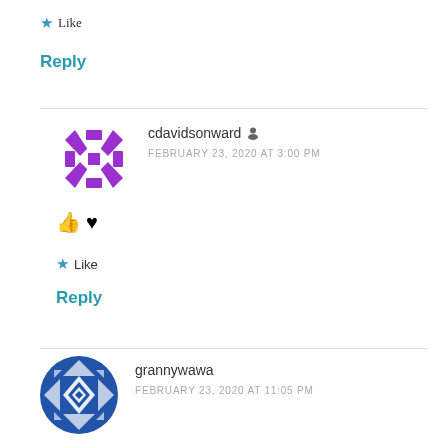★ Like
Reply
[Figure (illustration): Purple geometric pinwheel/star avatar for user cdavidsonward]
cdavidsonward 👤
FEBRUARY 23, 2020 AT 3:00 PM
👍 ♥
★ Like
Reply
[Figure (illustration): Blue and white geometric quilt-pattern avatar for user grannywawa]
grannywawa
FEBRUARY 23, 2020 AT 11:05 PM